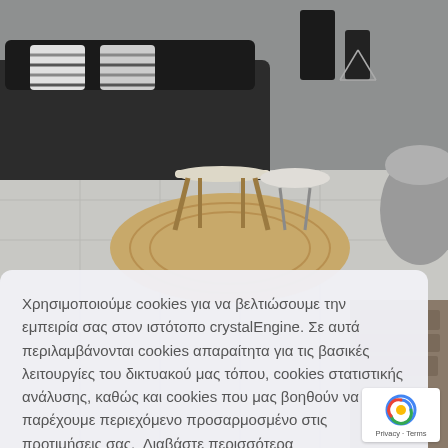[Figure (photo): Outdoor living room furniture scene with dark sofa, striped pillows, round rattan rug, wooden coffee tables, and grey knitted pouf]
Χρησιμοποιούμε cookies για να βελτιώσουμε την εμπειρία σας στον ιστότοπο crystalEngine. Σε αυτά περιλαμβάνονται cookies απαραίτητα για τις βασικές λειτουργίες του δικτυακού μας τόπου, cookies στατιστικής ανάλυσης, καθώς και cookies που μας βοηθούν να παρέχουμε περιεχόμενο προσαρμοσμένο στις προτιμήσεις σας.  Διαβάστε περισσότερα